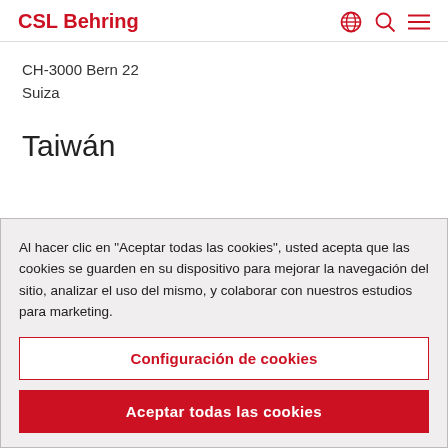CSL Behring
CH-3000 Bern 22
Suiza
Taiwán
Al hacer clic en "Aceptar todas las cookies", usted acepta que las cookies se guarden en su dispositivo para mejorar la navegación del sitio, analizar el uso del mismo, y colaborar con nuestros estudios para marketing.
Configuración de cookies
Aceptar todas las cookies